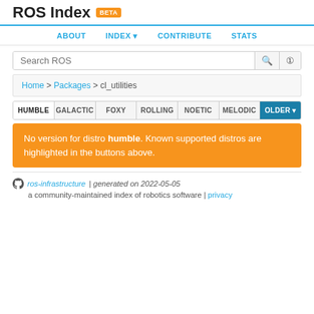ROS Index BETA
ABOUT   INDEX   CONTRIBUTE   STATS
Search ROS
Home > Packages > cl_utilities
HUMBLE  GALACTIC  FOXY  ROLLING  NOETIC  MELODIC  OLDER
No version for distro humble. Known supported distros are highlighted in the buttons above.
ros-infrastructure | generated on 2022-05-05
a community-maintained index of robotics software | privacy